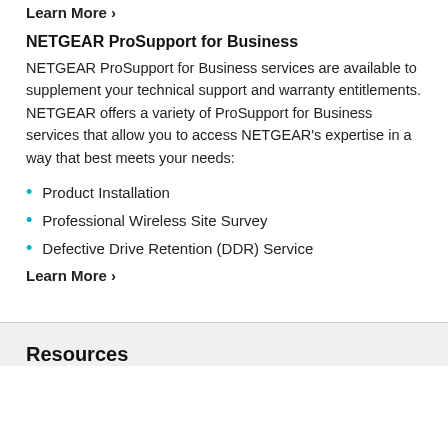Learn More ›
NETGEAR ProSupport for Business
NETGEAR ProSupport for Business services are available to supplement your technical support and warranty entitlements. NETGEAR offers a variety of ProSupport for Business services that allow you to access NETGEAR's expertise in a way that best meets your needs:
Product Installation
Professional Wireless Site Survey
Defective Drive Retention (DDR) Service
Learn More ›
Resources